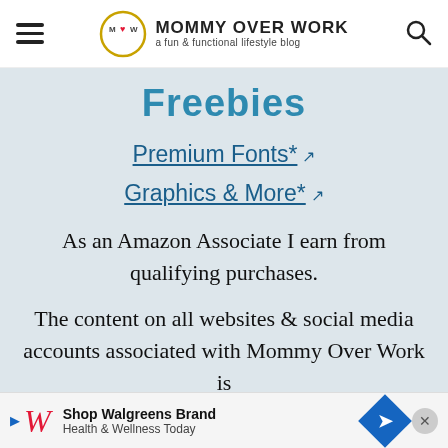MOMMY OVER WORK — a fun & functional lifestyle blog
Freebies
Premium Fonts* ↗
Graphics & More* ↗
As an Amazon Associate I earn from qualifying purchases.
The content on all websites & social media accounts associated with Mommy Over Work is for in...er no...
[Figure (other): Walgreens advertisement banner: Shop Walgreens Brand Health & Wellness Today]